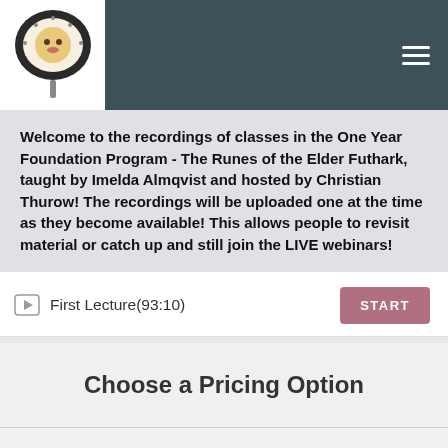Welcome to the recordings of classes in the One Year Foundation Program - The Runes of the Elder Futhark, taught by Imelda Almqvist and hosted by Christian Thurow! The recordings will be uploaded one at the time as they become available! This allows people to revisit material or catch up and still join the LIVE webinars!
First Lecture(93:10)
Choose a Pricing Option
£31